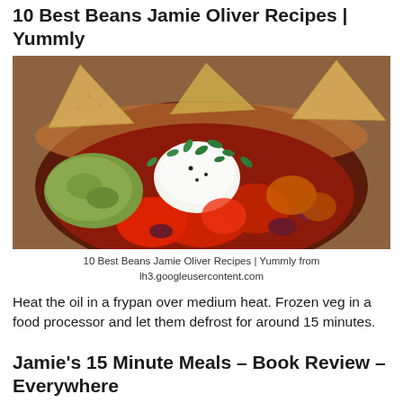10 Best Beans Jamie Oliver Recipes | Yummly
[Figure (photo): A bowl of bean chili topped with guacamole, sour cream, fresh cilantro, tomatoes, and tortilla chips]
10 Best Beans Jamie Oliver Recipes | Yummly from
lh3.googleusercontent.com
Heat the oil in a frypan over medium heat. Frozen veg in a food processor and let them defrost for around 15 minutes.
Jamie's 15 Minute Meals – Book Review – Everywhere